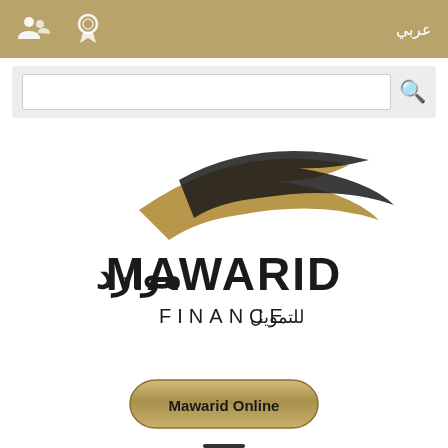عربي
[Figure (screenshot): Search bar with magnifying glass icon on light grey background]
[Figure (logo): Mawarid Finance logo with Arabic and English text, swoosh graphic above in black and gold]
[Figure (other): Mawarid Online button with gold gradient rounded rectangle]
[Figure (other): Hamburger menu icon with three horizontal lines]